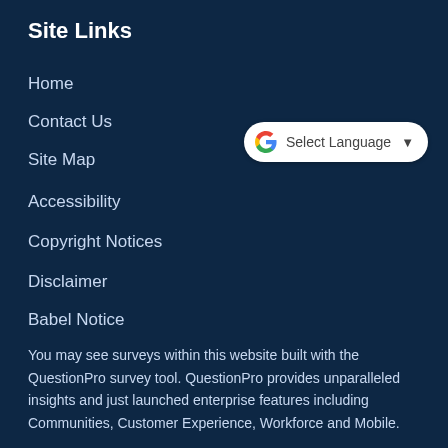Site Links
Home
Contact Us
Site Map
Accessibility
Copyright Notices
Disclaimer
Babel Notice
[Figure (other): Google Translate widget button with Google G logo, text 'Select Language' and a dropdown arrow]
You may see surveys within this website built with the QuestionPro survey tool. QuestionPro provides unparalleled insights and just launched enterprise features including Communities, Customer Experience, Workforce and Mobile.